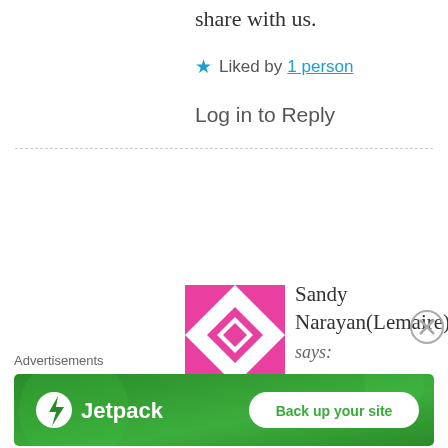share with us.
★ Liked by 1 person
Log in to Reply
Sandy Narayan(Lemaire) says:
August 20, 2017 at 3:02 am
Hi Cat! Just checked out ur blog! I think it's amazing sometimes the things we don't really see until we really look.
[Figure (illustration): Pink and white geometric quilt-pattern avatar for Sandy Narayan(Lemaire)]
Advertisements
[Figure (screenshot): Jetpack advertisement banner with 'Back up your site' button on green background]